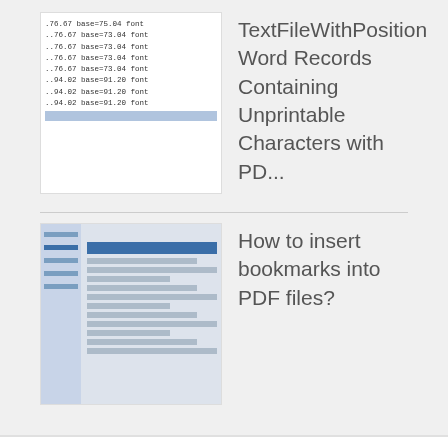[Figure (screenshot): Thumbnail showing code/text file with position data lines like .76.67 base=75.04 font]
TextFileWithPosition Word Records Containing Unprintable Characters with PD...
[Figure (screenshot): Thumbnail showing a PDF software interface screenshot with bookmarks panel]
How to insert bookmarks into PDF files?
Recent Comments
VeryPDF on Problem converting PDF to PCL with pdf2vec, I need to convert a color PDF file to a color PCL file
VeryPDF on Pdf to Excel or CSV from Command